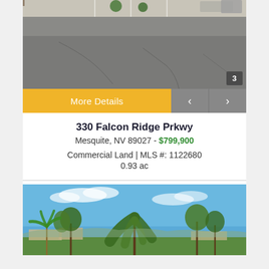[Figure (photo): Aerial or street-level view of an asphalt parking lot or road surface with cracks, trees in background, vehicles parked. Badge showing image number 3.]
More Details
330 Falcon Ridge Prkwy
Mesquite, NV 89027 - $799,900
Commercial Land | MLS #: 1122680
0.93 ac
[Figure (photo): Outdoor photo showing trees (large willow-like trees, palm tree, other trees) against a blue sky with clouds, with low buildings visible in the background.]